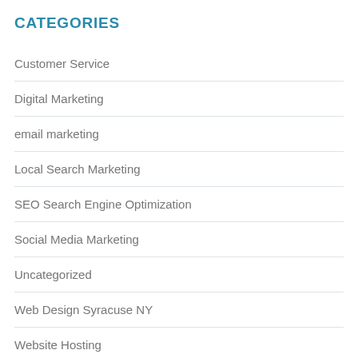CATEGORIES
Customer Service
Digital Marketing
email marketing
Local Search Marketing
SEO Search Engine Optimization
Social Media Marketing
Uncategorized
Web Design Syracuse NY
Website Hosting